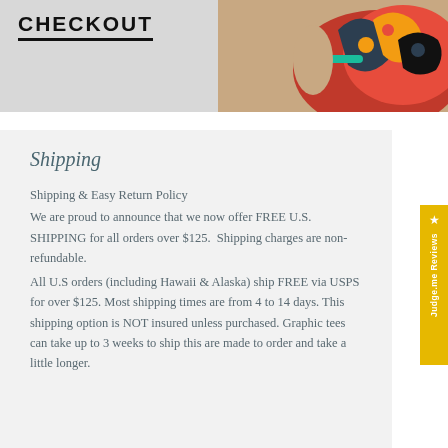CHECKOUT
[Figure (photo): Partial view of a person wearing a colorful patterned top, cropped at shoulder/arm area]
Shipping
Shipping & Easy Return Policy
We are proud to announce that we now offer FREE U.S. SHIPPING for all orders over $125.  Shipping charges are non-refundable.
All U.S orders (including Hawaii & Alaska) ship FREE via USPS for over $125. Most shipping times are from 4 to 14 days. This shipping option is NOT insured unless purchased. Graphic tees can take up to 3 weeks to ship this are made to order and take a little longer.